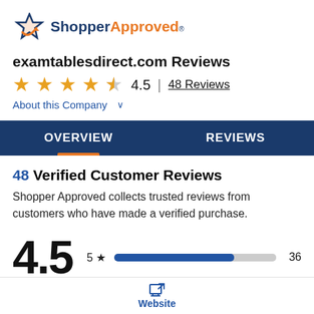[Figure (logo): Shopper Approved logo with star icon, text 'Shopper' in dark blue and 'Approved' in orange with registered trademark symbol]
examtablesdirect.com Reviews
4.5  |  48 Reviews
About this Company  ∨
OVERVIEW
REVIEWS
48 Verified Customer Reviews
Shopper Approved collects trusted reviews from customers who have made a verified purchase.
4.5   5★  ██████████░░░  36